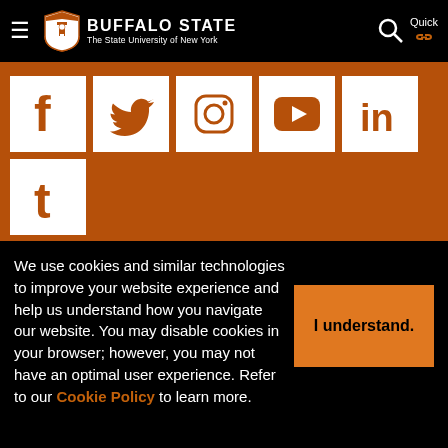Buffalo State — The State University of New York
[Figure (logo): Buffalo State university shield logo]
[Figure (infographic): Social media icons: Facebook, Twitter, Instagram, YouTube, LinkedIn, Tumblr on orange background]
We use cookies and similar technologies to improve your website experience and help us understand how you navigate our website. You may disable cookies in your browser; however, you may not have an optimal user experience. Refer to our Cookie Policy to learn more.
I understand.